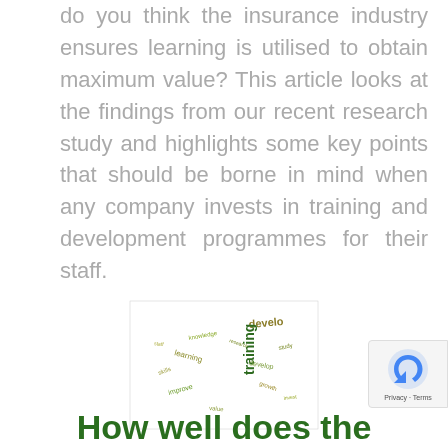do you think the insurance industry ensures learning is utilised to obtain maximum value? This article looks at the findings from our recent research study and highlights some key points that should be borne in mind when any company invests in training and development programmes for their staff.
[Figure (illustration): A word cloud illustration featuring words related to learning and development, including 'develop', 'training', and other related terms in green and olive/yellow colors.]
How well does the